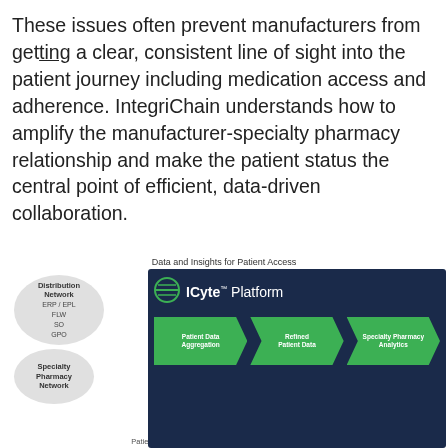These issues often prevent manufacturers from getting a clear, consistent line of sight into the patient journey including medication access and adherence. IntegriChain understands how to amplify the manufacturer-specialty pharmacy relationship and make the patient status the central point of efficient, data-driven collaboration.
Data and Insights for Patient Access
[Figure (infographic): ICyte Platform diagram showing Distribution Network (ERP/EPL, FLW, SO, GPO) and Specialty Pharmacy Network feeding into the ICyte Platform with three stages: Patient Data Aggregation, Refined Patient Data, Specialty Pharmacy Analytics]